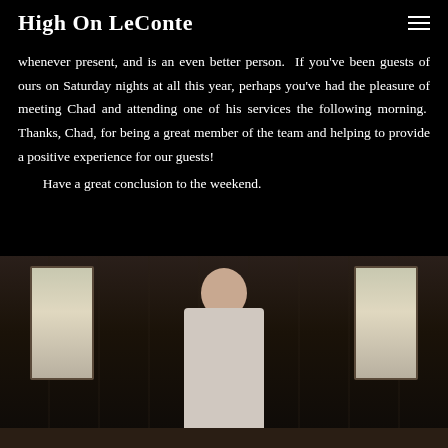High On LeConte
whenever present, and is an even better person.  If you've been guests of ours on Saturday nights at all this year, perhaps you've had the pleasure of meeting Chad and attending one of his services the following morning.  Thanks, Chad, for being a great member of the team and helping to provide a positive experience for our guests!
Have a great conclusion to the weekend.
[Figure (photo): A bald man smiling inside a rustic wooden lodge, standing between two bright windows.]